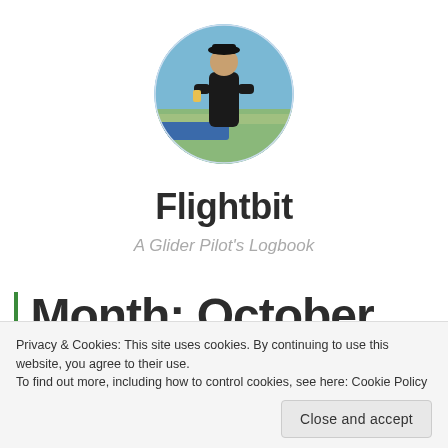[Figure (photo): Circular profile photo of a person standing outdoors near an airfield, wearing a black jacket and hat, with a blue glider wing visible in the background and green fields and blue sky.]
Flightbit
A Glider Pilot's Logbook
Month: October
Privacy & Cookies: This site uses cookies. By continuing to use this website, you agree to their use.
To find out more, including how to control cookies, see here: Cookie Policy
Close and accept